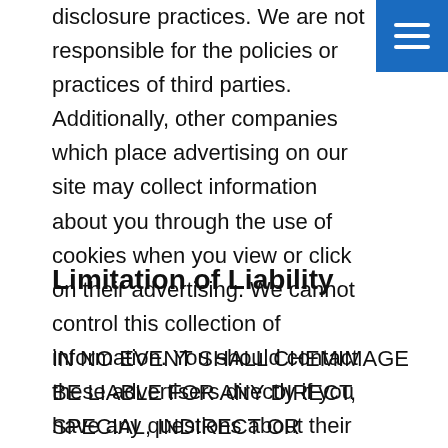disclosure practices. We are not responsible for the policies or practices of third parties. Additionally, other companies which place advertising on our site may collect information about you through the use of cookies when you view or click on their advertising. We cannot control this collection of information. You should contact these advertisers directly if you have any questions about their use of the information that they collect.
Limitation of Liability
IN NO EVENT SHALL CHEMIMAGE BE LIABLE FOR ANY DIRECT, SPECIAL, INDIRECT OR CONSEQUENTIAL DAMAGES, OR ANY OTHER